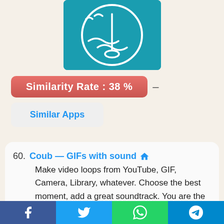[Figure (logo): Teal/turquoise app icon with a white circle outline containing a seagull, waves, and a fishing pole/anchor symbol on a teal background]
Similarity Rate : 38 %
Similar Apps
60. Coub — GIFs with sound
Make video loops from YouTube, GIF, Camera, Library, whatever. Choose the best moment, add a great soundtrack. You are the boss here!